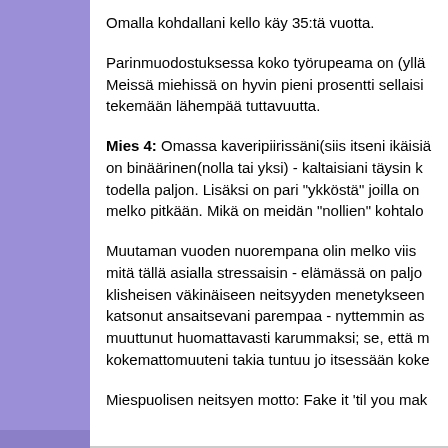Omalla kohdallani kello käy 35:tä vuotta.
Parinmuodostuksessa koko työrupeama on (yllä Meissä miehissä on hyvin pieni prosentti sellaisia tekemään lähempää tuttavuutta.
Mies 4: Omassa kaveripiirissäni(siis itseni ikäisiä on binäärinen(nolla tai yksi) - kaltaisiani täysin k todella paljon. Lisäksi on pari "ykköstä" joilla on melko pitkään. Mikä on meidän "nollien" kohtalo
Muutaman vuoden nuorempana olin melko viisa mitä tällä asialla stressaisin - elämässä on paljo klisheisen väkinäiseen neitsyyden menetykseen katsonut ansaitsevani parempaa - nyttemmin as muuttunut huomattavasti karummaksi; se, että m kokemattomuuteni takia tuntuu jo itsessään koke
Miespuolisen neitsyen motto: Fake it 'til you mak